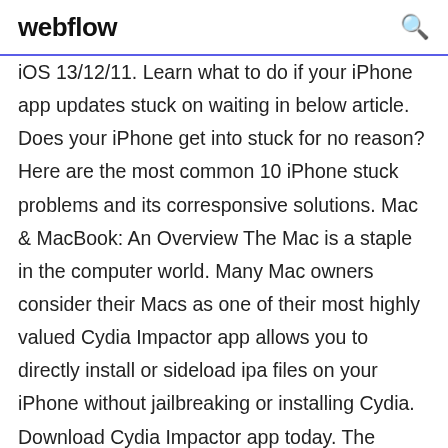webflow
iOS 13/12/11. Learn what to do if your iPhone app updates stuck on waiting in below article. Does your iPhone get into stuck for no reason? Here are the most common 10 iPhone stuck problems and its corresponsive solutions. Mac & MacBook: An Overview The Mac is a staple in the computer world. Many Mac owners consider their Macs as one of their most highly valued Cydia Impactor app allows you to directly install or sideload ipa files on your iPhone without jailbreaking or installing Cydia. Download Cydia Impactor app today. The Android platform includes support for the Bluetooth network stack, which allows a device to wirelessly exchange data with other